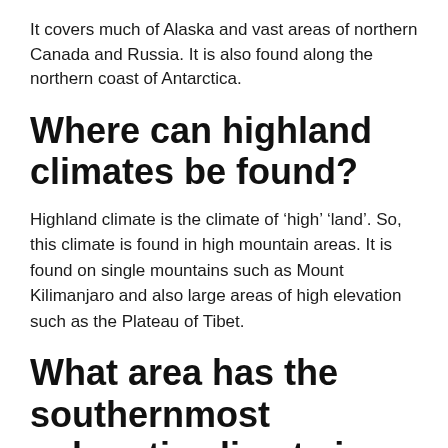It covers much of Alaska and vast areas of northern Canada and Russia. It is also found along the northern coast of Antarctica.
Where can highland climates be found?
Highland climate is the climate of ‘high’ ‘land’. So, this climate is found in high mountain areas. It is found on single mountains such as Mount Kilimanjaro and also large areas of high elevation such as the Plateau of Tibet.
What area has the southernmost subarctic climate in the Northern